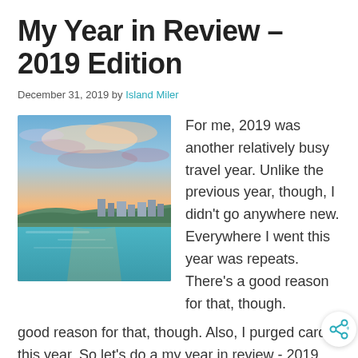My Year in Review – 2019 Edition
December 31, 2019 by Island Miler
[Figure (photo): Aerial coastal photo showing a city waterfront with turquoise water, buildings, and a dramatic sunset sky with orange, pink, and blue clouds.]
For me, 2019 was another relatively busy travel year. Unlike the previous year, though, I didn't go anywhere new. Everywhere I went this year was repeats. There's a good reason for that, though. Also, I purged cards this year. So let's do a my year in review - 2019 edition. … [Read more...]